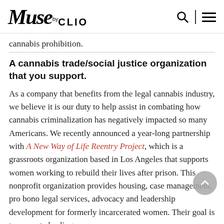Muse by CLIO
cannabis prohibition.
A cannabis trade/social justice organization that you support.
As a company that benefits from the legal cannabis industry, we believe it is our duty to help assist in combating how cannabis criminalization has negatively impacted so many Americans. We recently announced a year-long partnership with A New Way of Life Reentry Project, which is a grassroots organization based in Los Angeles that supports women working to rebuild their lives after prison. This nonprofit organization provides housing, case management, pro bono legal services, advocacy and leadership development for formerly incarcerated women. Their goal is to promote healing,